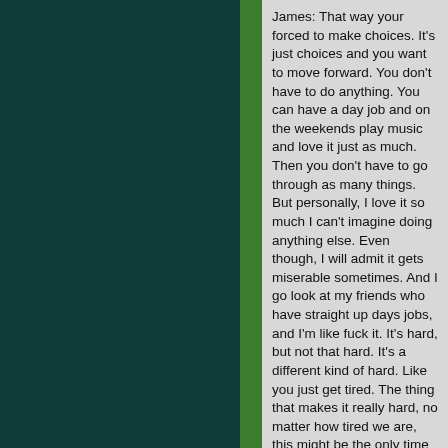James: That way your forced to make choices. It's just choices and you want to move forward. You don't have to do anything. You can have a day job and on the weekends play music and love it just as much. Then you don't have to go through as many things. But personally, I love it so much I can't imagine doing anything else. Even though, I will admit it gets miserable sometimes. And I go look at my friends who have straight up days jobs, and I'm like fuck it. It's hard, but not that hard. It's a different kind of hard. Like you just get tired. The thing that makes it really hard, no matter how tired we are, this might be the only time this town will get a chance to see us, so we're the kind of person that will feel guilty if I don't go out there when I'm tired and still give a 110%. Even though it's not in me, it hurts my soul to have to go out there and not do as good as I can. That is what is hard.
Eddie: That's why we have done so good. No matter who bad we